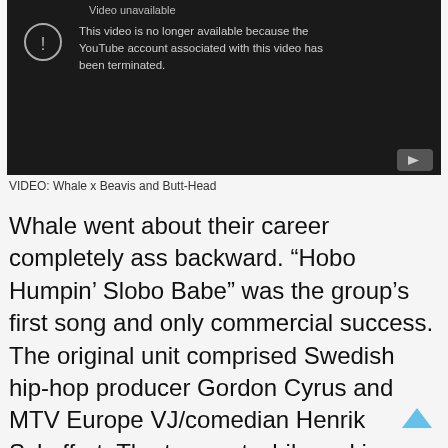[Figure (screenshot): YouTube video unavailable placeholder with dark background showing 'Video unavailable' message and exclamation icon, with YouTube logo button in bottom right corner]
VIDEO: Whale x Beavis and Butt-Head
Whale went about their career completely ass backward. “Hobo Humpin’ Slobo Babe” was the group’s first song and only commercial success. The original unit comprised Swedish hip-hop producer Gordon Cyrus and MTV Europe VJ/comedian Henrik Schyffert. The two met while making a commercial together